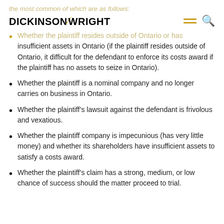the most common of which are as follows:
[Figure (logo): Dickinson Wright law firm logo with golden accent slash, hamburger menu icon and search icon]
Whether the plaintiff resides outside of Ontario or has insufficient assets in Ontario (if the plaintiff resides outside of Ontario, it difficult for the defendant to enforce its costs award if the plaintiff has no assets to seize in Ontario).
Whether the plaintiff is a nominal company and no longer carries on business in Ontario.
Whether the plaintiff’s lawsuit against the defendant is frivolous and vexatious.
Whether the plaintiff company is impecunious (has very little money) and whether its shareholders have insufficient assets to satisfy a costs award.
Whether the plaintiff’s claim has a strong, medium, or low chance of success should the matter proceed to trial.